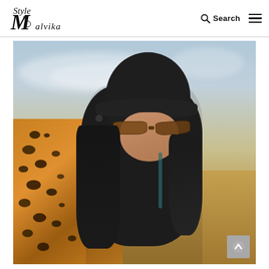Style by Malvika — Search and navigation menu
[Figure (photo): Woman wearing a black hijab styled as a turban/hat, large tortoiseshell sunglasses, and a leopard print jacket, photographed outdoors in a desert sand dune setting with a blue sky background. She is looking downward. The image is a fashion/lifestyle photograph for the Style by Malvika blog.]